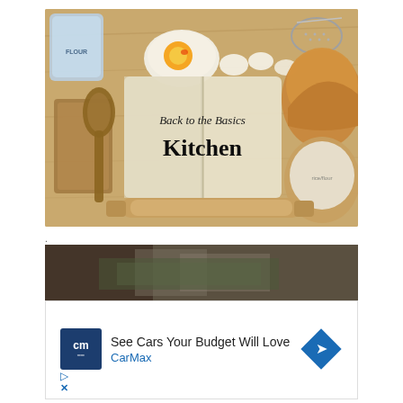[Figure (photo): Overhead photo of baking ingredients on a wooden surface: eggs in a bowl, eggshells, a flour bag, bread loaf, bag of rice/flour, rolling pin, wooden spoon, cutting board, and an open book/cookbook in the center with text 'Back to the Basics Kitchen']
.
[Figure (photo): Partial photo visible at the top of the advertisement area showing blurred dark background with money/cash]
[Figure (screenshot): CarMax advertisement showing the CarMax 'cm' logo in navy/dark blue square, text 'See Cars Your Budget Will Love' and 'CarMax', with a blue diamond arrow icon. Play and close (X) controls are shown at the bottom left.]